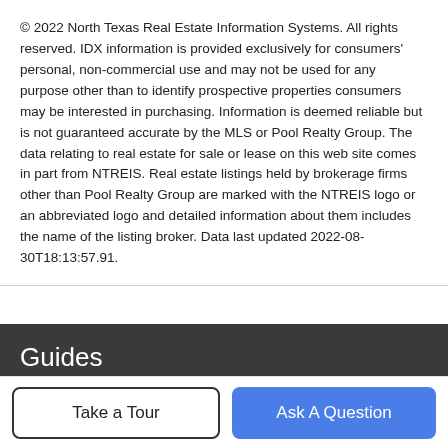© 2022 North Texas Real Estate Information Systems. All rights reserved. IDX information is provided exclusively for consumers' personal, non-commercial use and may not be used for any purpose other than to identify prospective properties consumers may be interested in purchasing. Information is deemed reliable but is not guaranteed accurate by the MLS or Pool Realty Group. The data relating to real estate for sale or lease on this web site comes in part from NTREIS. Real estate listings held by brokerage firms other than Pool Realty Group are marked with the NTREIS logo or an abbreviated logo and detailed information about them includes the name of the listing broker. Data last updated 2022-08-30T18:13:57.91.
Guides
Conroe
Cypress